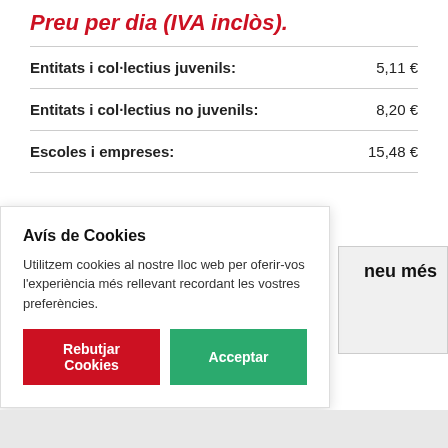Preu per dia (IVA inclòs).
| Categoria | Preu |
| --- | --- |
| Entitats i col·lectius juvenils: | 5,11 € |
| Entitats i col·lectius no juvenils: | 8,20 € |
| Escoles i empreses: | 15,48 € |
Avis de Cookies
Utilitzem cookies al nostre lloc web per oferir-vos l'experiència més rellevant recordant les vostres preferències.
neu més